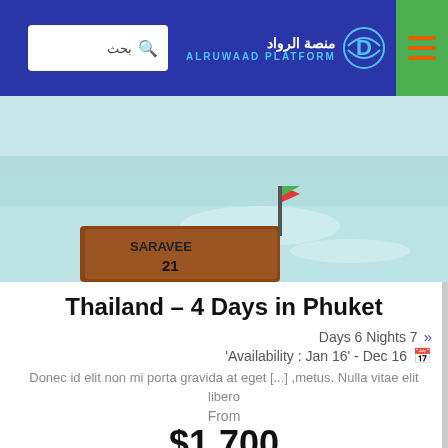ALRUWAAD PLATFORM منصة الرواد
[Figure (photo): Partial view of a boat in shallow turquoise beach water, with text 'SARAVEE 21' visible on the boat hull]
Thailand – 4 Days in Phuket
Days 6 Nights 7
'Availability : Jan 16' - Dec 16
Donec id elit non mi porta gravida at eget [...] ,metus. Nulla vitae elit libero
From
$1,700